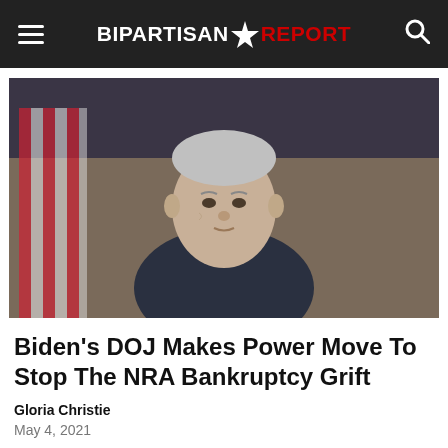BIPARTISAN REPORT
[Figure (photo): Photo of Joe Biden speaking, with American flag in background]
Biden's DOJ Makes Power Move To Stop The NRA Bankruptcy Grift
Gloria Christie
May 4, 2021
[Figure (photo): Partial photo at bottom of page, indoor scene]